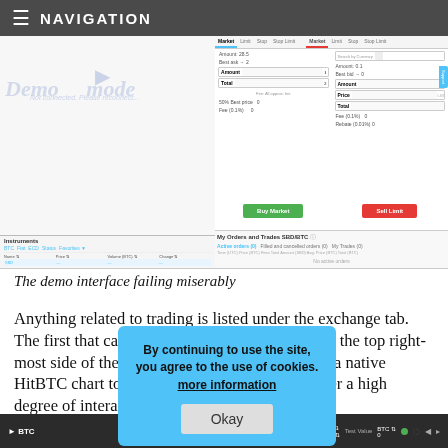NAVIGATION
[Figure (screenshot): Screenshot of a cryptocurrency trading demo interface showing order panels, buy/sell buttons, instruments list, and 'My Orders and Trades SBD/BTC' section. A 'Demo mode' watermark is overlaid on the chart area.]
The demo interface failing miserably
Anything related to trading is listed under the exchange tab. The first that can be found is a chart displayed at the top right-most side of the page. The user can switch from a native HitBTC chart to a TradingView one, as both offer a high degree of interactivity and customizability
[Figure (screenshot): Bottom portion of a trading platform interface showing a dark navigation bar with HitBTC logo and trading pair controls.]